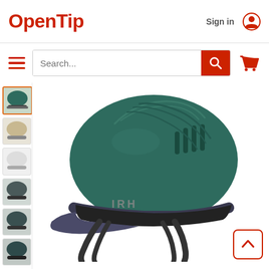OpenTip
Sign in
[Figure (screenshot): OpenTip e-commerce website header with logo, sign in link, user icon, hamburger menu, search bar with red search button, and red cart icon]
[Figure (photo): Product page showing an IRH brand dark green equestrian riding helmet with ventilation slots, dark navy brim/visor, foam padding, and chin straps. Multiple product thumbnail images shown on left sidebar, first thumbnail is selected with orange border.]